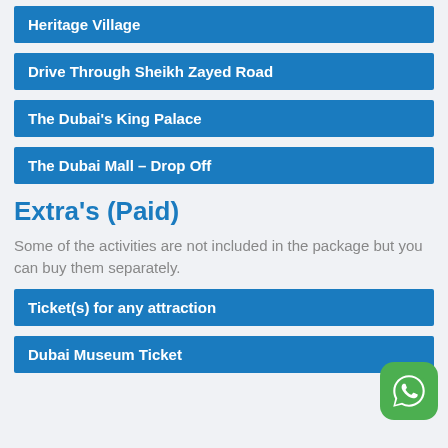Heritage Village
Drive Through Sheikh Zayed Road
The Dubai's King Palace
The Dubai Mall – Drop Off
Extra's (Paid)
Some of the activities are not included in the package but you can buy them separately.
Ticket(s) for any attraction
Dubai Museum Ticket